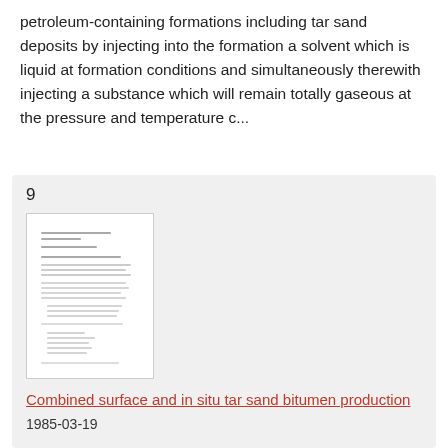petroleum-containing formations including tar sand deposits by injecting into the formation a solvent which is liquid at formation conditions and simultaneously therewith injecting a substance which will remain totally gaseous at the pressure and temperature c...
9
[Figure (screenshot): Thumbnail preview of a document page showing text lines and paragraphs]
Combined surface and in situ tar sand bitumen production
1985-03-19